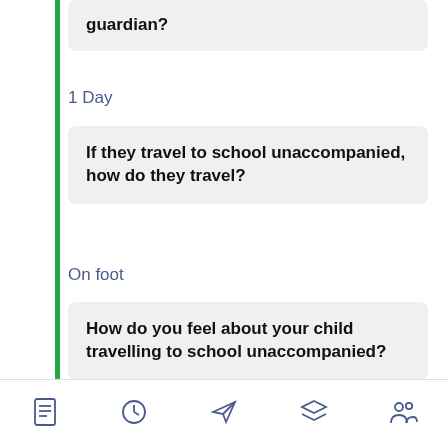guardian?
1 Day
If they travel to school unaccompanied, how do they travel?
On foot
How do you feel about your child travelling to school unaccompanied?
Positive